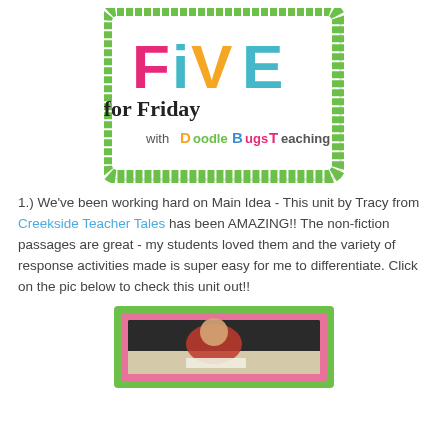[Figure (logo): Five for Friday with DoodleBugs Teaching logo - colorful letters on white background with green scalloped border]
1.) We've been working hard on Main Idea - This unit by Tracy from Creekside Teacher Tales has been AMAZING!! The non-fiction passages are great - my students loved them and the variety of response activities made is super easy for me to differentiate. Click on the pic below to check this unit out!!
[Figure (photo): A child in a red shirt leaning over a table reading, inside a green and pink bordered frame]